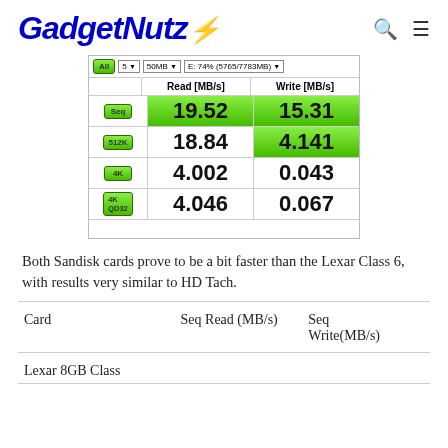GadgetNutz
[Figure (table-as-image): CrystalDiskMark benchmark screenshot showing Read and Write MB/s for Seq (19.52 / 15.31), 512K (18.84 / 4.141), 4K (4.002 / 0.043), 4K QD32 (4.046 / 0.067) with settings: 5 runs, 50MB, E: 74% (5765/7783MB)]
Both Sandisk cards prove to be a bit faster than the Lexar Class 6, with results very similar to HD Tach.
| Card | Seq Read (MB/s) | Seq Write(MB/s) |
| --- | --- | --- |
| Lexar 8GB Class | 15.1 | 11.05 |